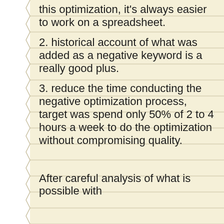this optimization, it's always easier to work on a spreadsheet.
2. historical account of what was added as a negative keyword is a really good plus.
3. reduce the time conducting the negative optimization process, target was spend only 50% of 2 to 4 hours a week to do the optimization without compromising quality.
After careful analysis of what is possible with